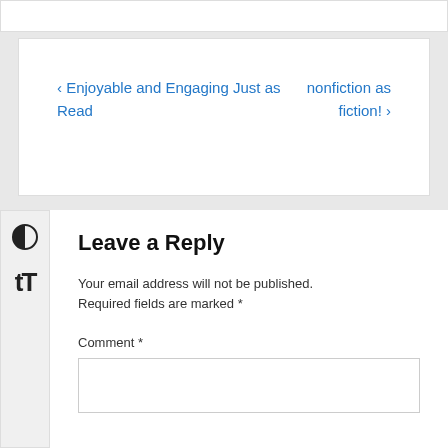‹ Enjoyable and Engaging Just as nonfiction as Read    fiction! ›
[Figure (other): Sidebar icons: contrast toggle (half-filled circle) and text resize (TT) buttons]
Leave a Reply
Your email address will not be published. Required fields are marked *
Comment *